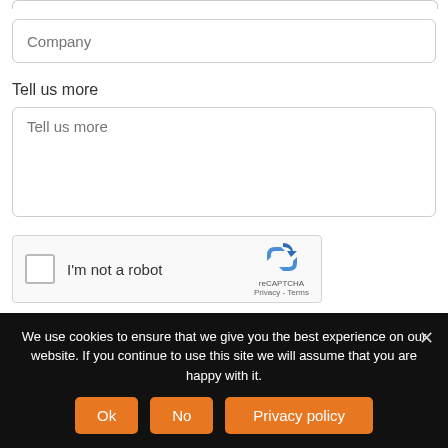[Figure (screenshot): A partially visible form input field at top of page (cut off)]
Company
Tell us more
Tell us more
[Figure (other): reCAPTCHA widget with checkbox, 'I'm not a robot' label, reCAPTCHA logo, Privacy and Terms links]
We use cookies to ensure that we give you the best experience on our website. If you continue to use this site we will assume that you are happy with it.
Ok
No
Privacy policy